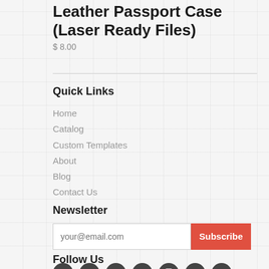Leather Passport Case (Laser Ready Files)
$ 8.00
Quick Links
Home
Catalog
Custom Templates
About
Blog
Contact Us
Newsletter
your@email.com
Subscribe
Follow Us
[Figure (other): Social media icons row: Facebook, Twitter, Pinterest, Google+, Instagram, YouTube, RSS]